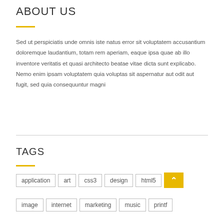ABOUT US
Sed ut perspiciatis unde omnis iste natus error sit voluptatem accusantium doloremque laudantium, totam rem aperiam, eaque ipsa quae ab illo inventore veritatis et quasi architecto beatae vitae dicta sunt explicabo. Nemo enim ipsam voluptatem quia voluptas sit aspernatur aut odit aut fugit, sed quia consequuntur magni
TAGS
application
art
css3
design
html5
image
internet
marketing
music
printf